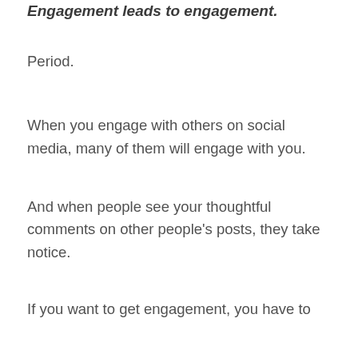Engagement leads to engagement.
Period.
When you engage with others on social media, many of them will engage with you.
And when people see your thoughtful comments on other people's posts, they take notice.
If you want to get engagement, you have to